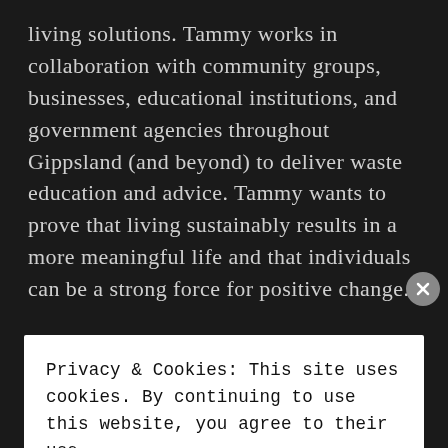living solutions. Tammy works in collaboration with community groups, businesses, educational institutions, and government agencies throughout Gippsland (and beyond) to deliver waste education and advice. Tammy wants to prove that living sustainably results in a more meaningful life and that individuals can be a strong force for positive change.
Privacy & Cookies: This site uses cookies. By continuing to use this website, you agree to their use. To find out more, including how to control cookies, see here: Cookie Policy
CLOSE AND ACCEPT